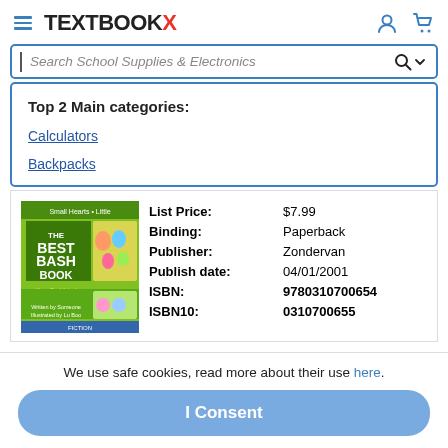TEXTBOOKX
Search School Supplies & Electronics
Top 2 Main categories:
Calculators
Backpacks
[Figure (illustration): Book cover: The Best Bash Book, it's a God thing!]
| Field | Value |
| --- | --- |
| List Price: | $7.99 |
| Binding: | Paperback |
| Publisher: | Zondervan |
| Publish date: | 04/01/2001 |
| ISBN: | 9780310700654 |
| ISBN10: | 0310700655 |
We use safe cookies, read more about their use here.
I Consent